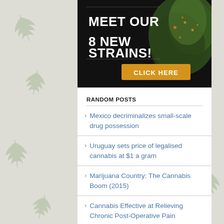[Figure (illustration): Advertisement banner with dark background showing cannabis plant. Large white bold text reads 'MEET OUR 8 NEW STRAINS!' with a gold/yellow button labeled 'CLICK HERE']
RANDOM POSTS
Mexico decriminalizes small-scale drug possession
Uruguay sets price of legalised cannabis at $1 a gram
Marijuana Country: The Cannabis Boom (2015)
Cannabis Effective at Relieving Chronic Post-Operative Pain